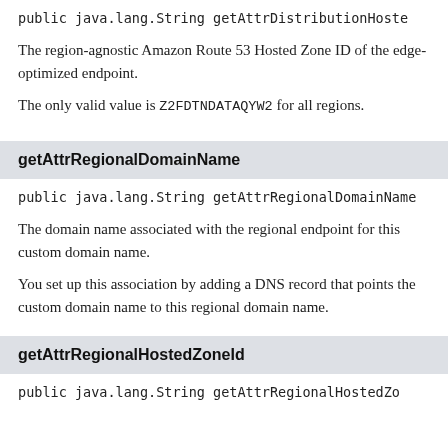public java.lang.String getAttrDistributionHosted...
The region-agnostic Amazon Route 53 Hosted Zone ID of the edge-optimized endpoint.
The only valid value is Z2FDTNDATAQYW2 for all regions.
getAttrRegionalDomainName
public java.lang.String getAttrRegionalDomainName...
The domain name associated with the regional endpoint for this custom domain name.
You set up this association by adding a DNS record that points the custom domain name to this regional domain name.
getAttrRegionalHostedZoneId
public java.lang.String getAttrRegionalHostedZone...